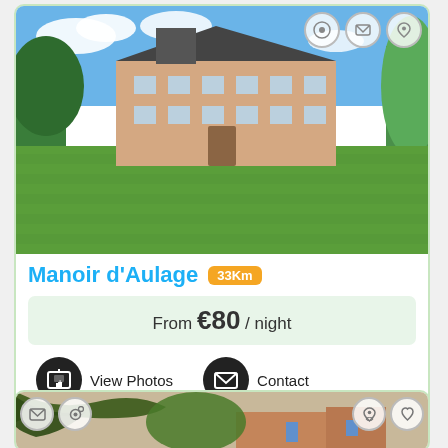[Figure (photo): Large French manor house with green lawn and trees, blue sky]
Manoir d'Aulage 33Km
From €80 / night
View Photos
Contact
[Figure (photo): Partial view of a farmhouse or rural property through tree branches]